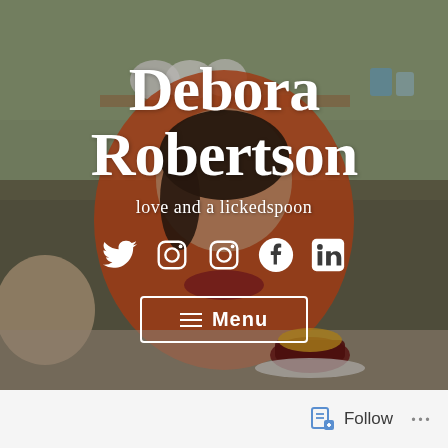[Figure (photo): A woman in an orange top and red beaded necklace leaning over a kitchen counter, with a small dark pot of food in front of her and a dog visible on the left. Kitchen shelves with dishes are in the background.]
Debora Robertson
love and a lickedspoon
[Figure (illustration): Row of social media icons: Twitter bird, Instagram camera (x2), Facebook f, LinkedIn in — all white on transparent background]
≡ Menu
Follow ...